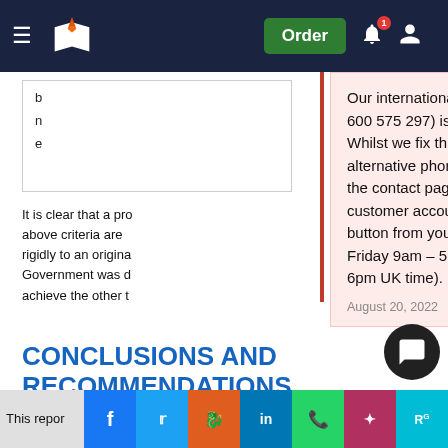Navigation bar with logo, Order button, notification and account icons
b
n
e
It is clear that a pro above criteria are rigidly to an original Government was d achieve the other t
[Figure (screenshot): Popup notification box with phone number outage message: Our international phone number (+971 600 575 297) is currently out of service. Whilst we fix this, please use the alternative phone numbers provided on the contact page, message through your customer account or click the WhatsApp button from your mobile (Monday – Friday 9am – 5pm, Saturday 10am – 6pm UK time). August 20, 2022]
CONCLUSIONS AND RECOMMENDATIONS
This repor d s g t mmand of the five areas outlined in sections 2 and 5 constitutes
Social sharing bar: Facebook, Twitter, Reddit, LinkedIn, WhatsApp, Mendeley, ResearchGate